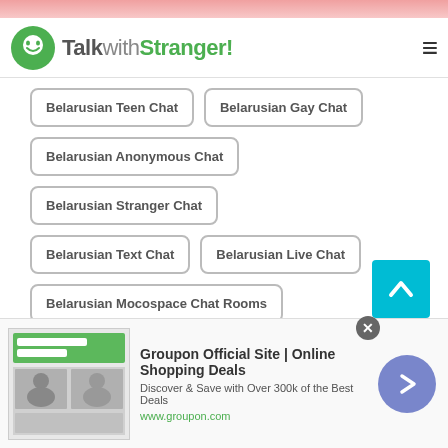TalkwithStranger!
Belarusian Teen Chat
Belarusian Gay Chat
Belarusian Anonymous Chat
Belarusian Stranger Chat
Belarusian Text Chat
Belarusian Live Chat
Belarusian Mocospace Chat Rooms
Belarusian Omegle Random Chat
Belarusian Chat Online
Belarusian Find Friends
[Figure (screenshot): Groupon advertisement banner: Groupon Official Site | Online Shopping Deals. Discover & Save with Over 300k of the Best Deals. www.groupon.com]